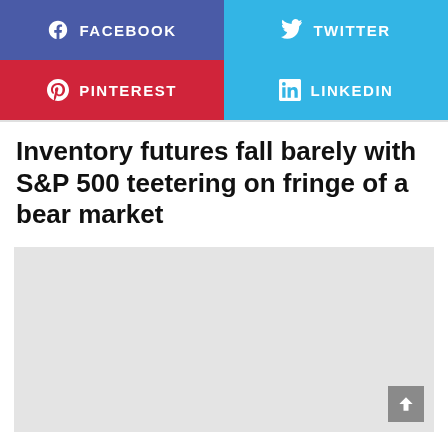[Figure (infographic): Social media share buttons: Facebook (purple), Twitter (light blue), Pinterest (red), LinkedIn (light blue)]
Inventory futures fall barely with S&P 500 teetering on fringe of a bear market
[Figure (other): Gray placeholder image area with a scroll-to-top button in the bottom right corner]